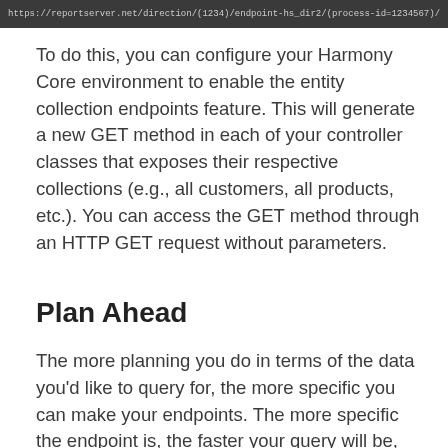[Figure (screenshot): Dark gray bar with monospace URL/code text in light gray]
To do this, you can configure your Harmony Core environment to enable the entity collection endpoints feature. This will generate a new GET method in each of your controller classes that exposes their respective collections (e.g., all customers, all products, etc.). You can access the GET method through an HTTP GET request without parameters.
Plan Ahead
The more planning you do in terms of the data you'd like to query for, the more specific you can make your endpoints. The more specific the endpoint is, the faster your query will be, as asking